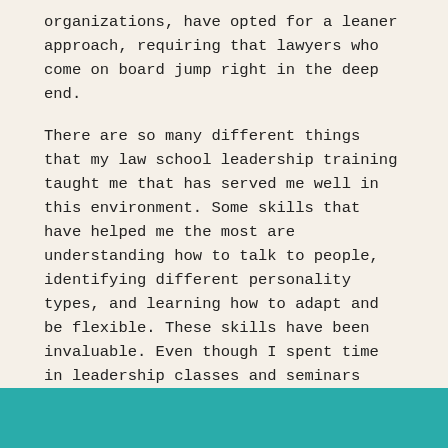organizations, have opted for a leaner approach, requiring that lawyers who come on board jump right in the deep end.
There are so many different things that my law school leadership training taught me that has served me well in this environment. Some skills that have helped me the most are understanding how to talk to people, identifying different personality types, and learning how to adapt and be flexible. These skills have been invaluable. Even though I spent time in leadership classes and seminars before I went to law school, I couldnât have guessed how to apply those concepts to the legal field until I had some legal education under my belt.